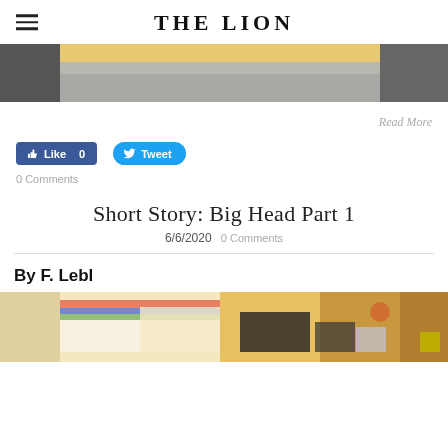THE LION
[Figure (photo): Top portion of a food photo showing what appears to be a donut or pastry on a plate, cropped at the top of the page]
Read More
[Figure (screenshot): Facebook Like button showing 'Like 0' in blue]
[Figure (screenshot): Twitter Tweet button in blue]
0 Comments
Short Story: Big Head Part 1
6/6/2020  0 Comments
By F. Lebl
[Figure (photo): Bottom photo showing what appears to be an indoor scene, possibly a store or office environment with colorful signage on the left and a darker interior on the right]